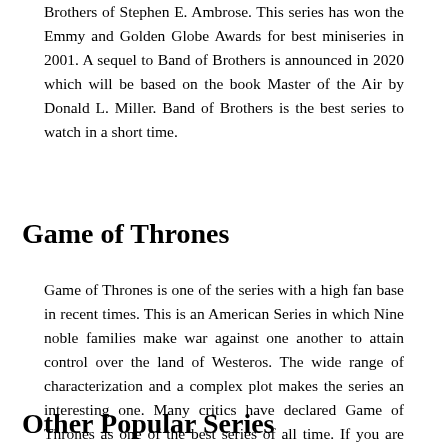Brothers of Stephen E. Ambrose. This series has won the Emmy and Golden Globe Awards for best miniseries in 2001. A sequel to Band of Brothers is announced in 2020 which will be based on the book Master of the Air by Donald L. Miller. Band of Brothers is the best series to watch in a short time.
Game of Thrones
Game of Thrones is one of the series with a high fan base in recent times. This is an American Series in which Nine noble families make war against one another to attain control over the land of Westeros. The wide range of characterization and a complex plot makes the series an interesting one. Many critics have declared Game of Thrones as one of the best series of all time. If you are looking for a series with good performance in acting, then Game of Thrones is the one for you. The fame of Game of Thrones is so high and has won many awards.
Other Popular Series